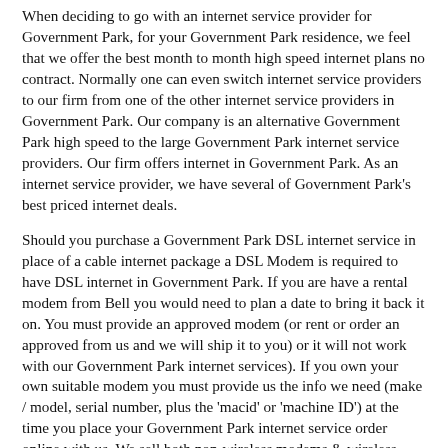When deciding to go with an internet service provider for Government Park, for your Government Park residence, we feel that we offer the best month to month high speed internet plans no contract. Normally one can even switch internet service providers to our firm from one of the other internet service providers in Government Park. Our company is an alternative Government Park high speed to the large Government Park internet service providers. Our firm offers internet in Government Park. As an internet service provider, we have several of Government Park's best priced internet deals.
Should you purchase a Government Park DSL internet service in place of a cable internet package a DSL Modem is required to have DSL internet in Government Park. If you are have a rental modem from Bell you would need to plan a date to bring it back it on. You must provide an approved modem (or rent or order an approved from us and we will ship it to you) or it will not work with our Government Park internet services). If you own your own suitable modem you must provide us the info we need (make / model, serial number, plus the 'macid' or 'machine ID') at the time you place your Government Park internet service order online with us. We sell both non-wireless modems & wireless modems, please be sure to select the right kind! If you purchase a DSL Modem from our company, a shipping cost applies at time of purchase (shown in the ordering system as a 'setup fee' but it is actually for 'postage' and not for any sort of 'setup').